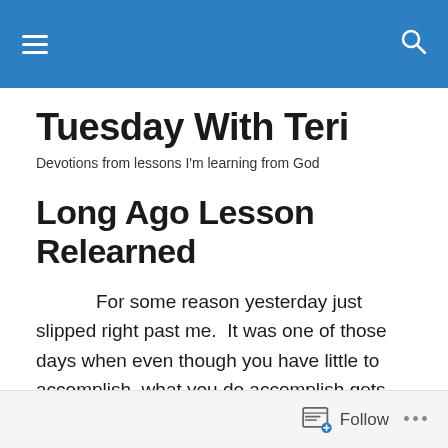Tuesday With Teri — site navigation header bar
Tuesday With Teri
Devotions from lessons I'm learning from God
Long Ago Lesson Relearned
For some reason yesterday just slipped right past me.  It was one of those days when even though you have little to accomplish, what you do accomplish gets done as if you are moving through sludge.  Admittedly, I may have been overdosing on Benadryl.
Follow